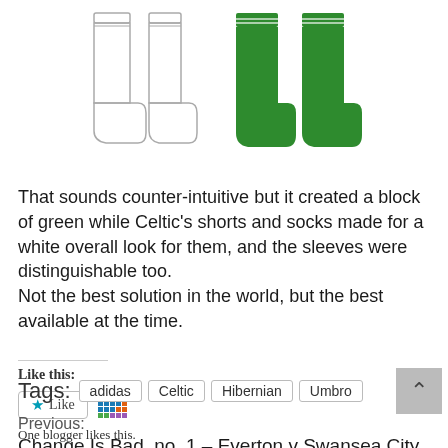[Figure (illustration): Four football socks illustrated side by side. Left two socks are plain white outlines. Right two socks are solid green with white horizontal stripe details at the top.]
That sounds counter-intuitive but it created a block of green while Celtic's shorts and socks made for a white overall look for them, and the sleeves were distinguishable too.
Not the best solution in the world, but the best available at the time.
Like this:
One blogger likes this.
Tags: adidas Celtic Hibernian Umbro
Previous:
Change Is Bad, no. 1 – Everton v Swansea City,